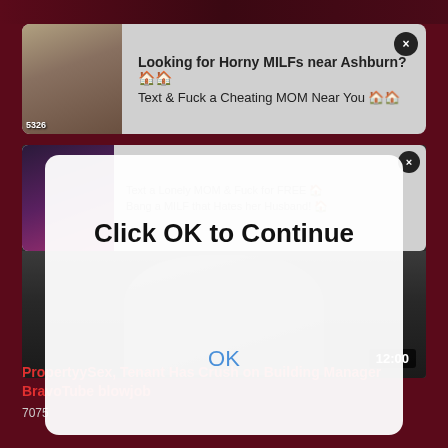[Figure (screenshot): Adult advertisement banner with thumbnail image and text: 'Looking for Horny MILFs near Ashburn? Text & Fuck a Cheating MOM Near You']
[Figure (screenshot): Second adult advertisement banner with thumbnail and faded text about texting a lonely MOM]
[Figure (screenshot): Modal dialog overlay with text 'Click OK to Continue' and OK button]
[Figure (screenshot): Video thumbnail for adult video content with time badge showing 12:00]
PropertyySex, Tenant Has Crush on Building Manager BravoTube blowjob
7075